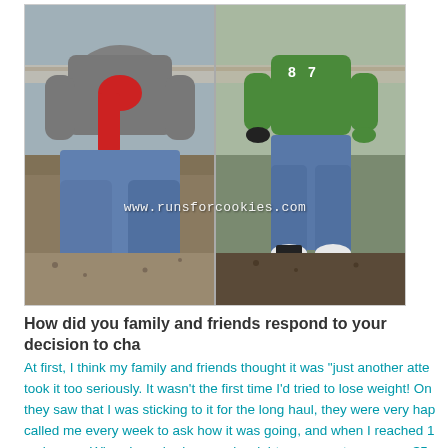[Figure (photo): Before and after comparison photo split vertically. Left side shows a person in a gray hoodie with a red crochet scarf and jeans. Right side shows the same person in a green hoodie and jeans, visibly slimmer. Text watermark 'www.runsforcookies.com' overlaid on the lower center of the image.]
How did you family and friends respond to your decision to cha...
At first, I think my family and friends thought it was "just another atte... took it too seriously. It wasn't the first time I'd tried to lose weight! On... they saw that I was sticking to it for the long haul, they were very hap... called me every week to ask how it was going, and when I reached 1... makeover. When I reached my goal weight, my parents gave me $5...